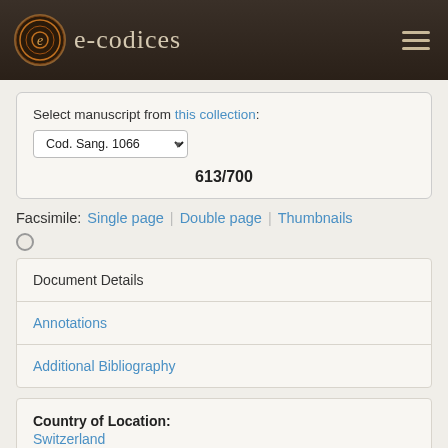e-codices
Select manuscript from this collection: Cod. Sang. 1066
613/700
Facsimile: Single page | Double page | Thumbnails
Document Details
Annotations
Additional Bibliography
Country of Location: Switzerland
Location: St. Gallen
Library / Collection: